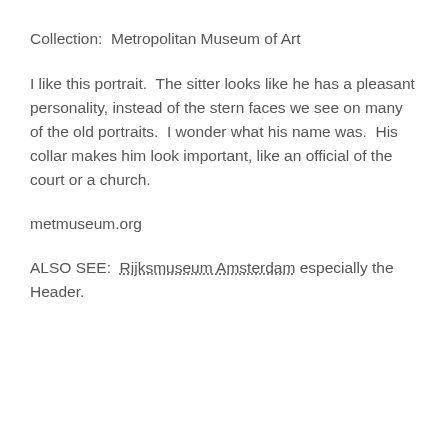Collection:  Metropolitan Museum of Art
I like this portrait.  The sitter looks like he has a pleasant personality, instead of the stern faces we see on many of the old portraits.  I wonder what his name was.  His collar makes him look important, like an official of the court or a church.
metmuseum.org
ALSO SEE:  Rijksmuseum Amsterdam especially the Header.